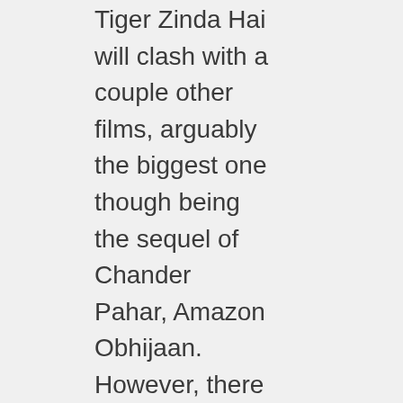Tiger Zinda Hai will clash with a couple other films, arguably the biggest one though being the sequel of Chander Pahar, Amazon Obhijaan. However, there is no comparison, as the all-India craze for Tiger Zinda Hai is much higher than any of the other films it's clashing with, including Amazon Obhijaan. Just as how Dhoom 3 broke the opening day and opening weekend record with no holidays, I feel that Tiger